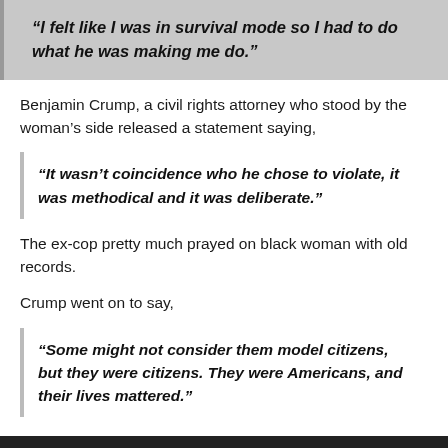“I felt like I was in survival mode so I had to do what he was making me do.”
Benjamin Crump, a civil rights attorney who stood by the woman’s side released a statement saying,
“It wasn’t coincidence who he chose to violate, it was methodical and it was deliberate.”
The ex-cop pretty much prayed on black woman with old records.
Crump went on to say,
“Some might not consider them model citizens, but they were citizens. They were Americans, and their lives mattered.”
Sentencing will take place next month. This man will get what he deserves.